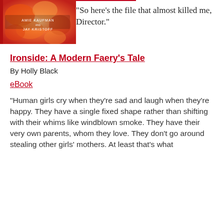[Figure (illustration): Book cover with orange/red flower design, authors Amie Kaufman and Jay Kristoff]
“So here’s the file that almost killed me, Director.”
Ironside: A Modern Faery’s Tale
By Holly Black
eBook
“Human girls cry when they’re sad and laugh when they’re happy. They have a single fixed shape rather than shifting with their whims like windblown smoke. They have their very own parents, whom they love. They don’t go around stealing other girls’ mothers. At least that’s what